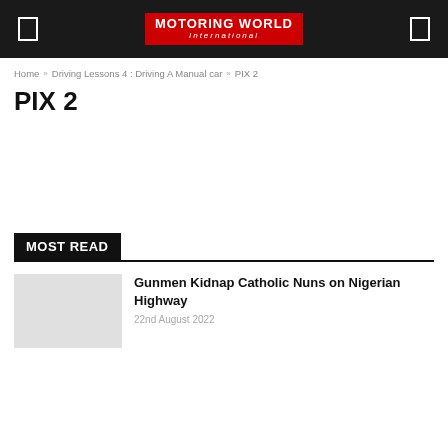MOTORING WORLD International
Home » Driving Lessons 4 : Driving A Manual car » PIX 2
PIX 2
MOST READ
Gunmen Kidnap Catholic Nuns on Nigerian Highway
22nd August 2022